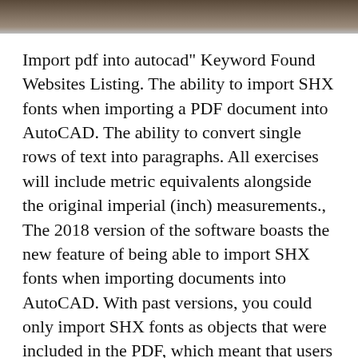[Figure (photo): Dark brownish image strip at the top of the page, partially visible cropped photo]
Import pdf into autocad" Keyword Found Websites Listing. The ability to import SHX fonts when importing a PDF document into AutoCAD. The ability to convert single rows of text into paragraphs. All exercises will include metric equivalents alongside the original imperial (inch) measurements., The 2018 version of the software boasts the new feature of being able to import SHX fonts when importing documents into AutoCAD. With past versions, you could only import SHX fonts as objects that were included in the PDF, which meant that users could not alter the text in any way..
Download autodesk autocad lt 2018 for free